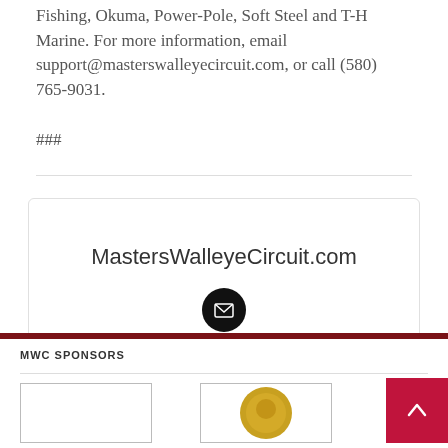Fishing, Okuma, Power-Pole, Soft Steel and T-H Marine. For more information, email support@masterswalleyecircuit.com, or call (580) 765-9031.
###
MastersWalleyeCircuit.com
[Figure (illustration): Black circular email icon button]
MWC SPONSORS
[Figure (logo): Sponsor logo box left - empty white box with border]
[Figure (logo): Sponsor logo box right - circular golden/yellow logo element]